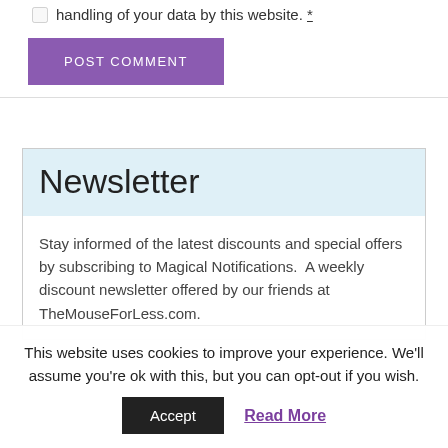handling of your data by this website. *
POST COMMENT
Newsletter
Stay informed of the latest discounts and special offers by subscribing to Magical Notifications.  A weekly discount newsletter offered by our friends at TheMouseForLess.com.
This website uses cookies to improve your experience. We'll assume you're ok with this, but you can opt-out if you wish.
Accept  Read More